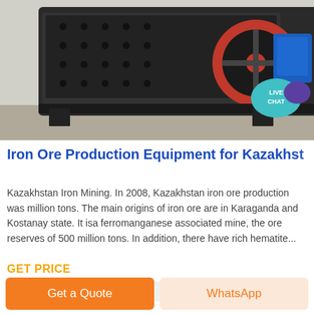[Figure (photo): Industrial iron ore crushing/production equipment — large black machine with red circular flywheel and blue motor in a factory/warehouse setting]
[Figure (other): Live Chat badge — teal speech bubble with text LIVE CHAT and purple chat icon]
Iron Ore Production Equipment for Kazakhstan
Kazakhstan Iron Mining. In 2008, Kazakhstan iron ore production was million tons. The main origins of iron ore are in Karaganda and Kostanay state. It isa ferromanganese associated mine, the ore reserves of 500 million tons. In addition, there have rich hematite...
GET PRICE
Get a Quote
WhatsApp